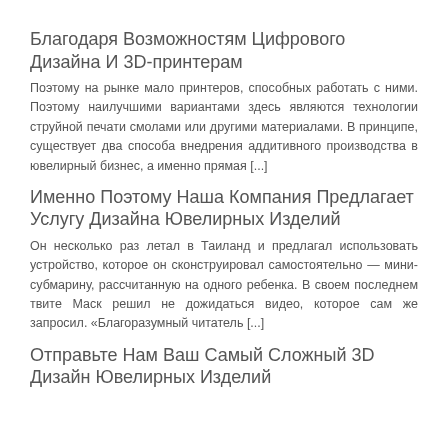Благодаря Возможностям Цифрового Дизайна И 3D-принтерам
Поэтому на рынке мало принтеров, способных работать с ними. Поэтому наилучшими вариантами здесь являются технологии струйной печати смолами или другими материалами. В принципе, существует два способа внедрения аддитивного производства в ювелирный бизнес, а именно прямая [...]
Именно Поэтому Наша Компания Предлагает Услугу Дизайна Ювелирных Изделий
Он несколько раз летал в Таиланд и предлагал использовать устройство, которое он сконструировал самостоятельно — мини-субмарину, рассчитанную на одного ребенка. В своем последнем твите Маск решил не дожидаться видео, которое сам же запросил. «Благоразумный читатель [...]
Отправьте Нам Ваш Самый Сложный 3D Дизайн Ювелирных Изделий